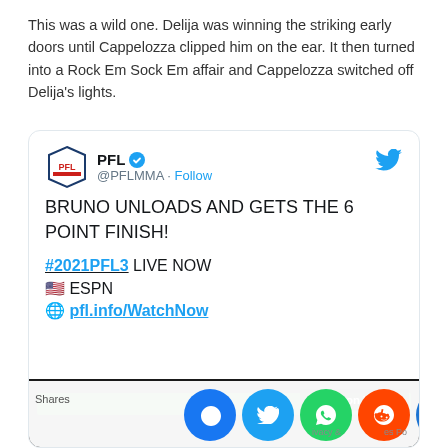This was a wild one. Delija was winning the striking early doors until Cappelozza clipped him on the ear. It then turned into a Rock Em Sock Em affair and Cappelozza switched off Delija's lights.
[Figure (screenshot): Embedded tweet from @PFLMMA (PFL) with text: BRUNO UNLOADS AND GETS THE 6 POINT FINISH! #2021PFL3 LIVE NOW ESPN pfl.info/WatchNow, with a video thumbnail and Watch on Twitter overlay, and social share buttons (Facebook, Twitter, WhatsApp, Reddit, another) at the bottom.]